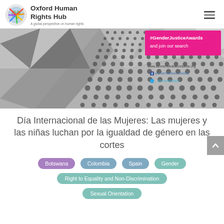Oxford Human Rights Hub — A global perspective on human rights
[Figure (illustration): Decorative banner image with dark starburst pattern, halftone dot texture diagonal band, and a pink overlay box with '#GenderJusticeAwards and join our search' text. Lower right shows womensinkworldwide.org website info.]
Día Internacional de las Mujeres: Las mujeres y las niñas luchan por la igualdad de género en las cortes
Botswana
Colombia
Spain
Gender
Right to Equality and Non-Discrimination
Sexual Orientation